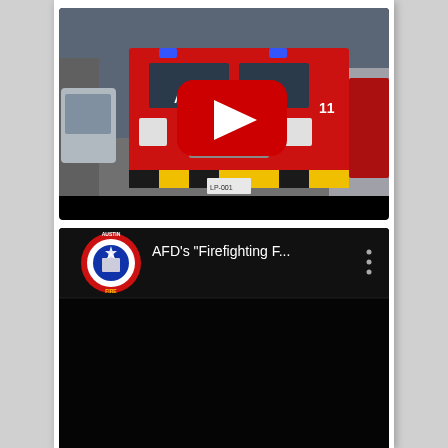[Figure (screenshot): YouTube video thumbnail showing an Austin Fire Department fire truck (red, front view) driving on a city street. A large red YouTube play button overlay is visible in the center. The truck has 'AUST' visible on the front. Below the video image is a black bar (video player bottom area).]
[Figure (screenshot): YouTube video player showing a second video. The video area is black/dark. At the top left is the Austin Fire Department circular logo (red border with 'AUSTIN FIRE' text, blue star, building icon). Next to it is the video title text: AFD's "Firefighting F..." in white on black background. A three-dot menu icon is on the right side.]